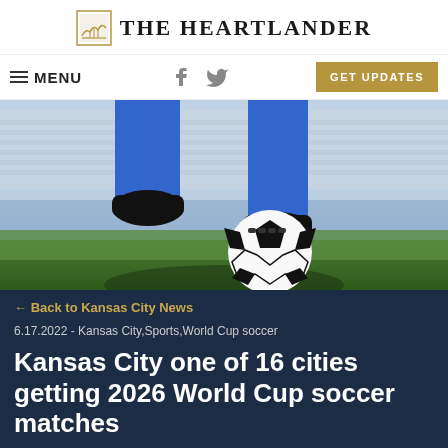THE HEARTLANDER
[Figure (other): Navigation bar with hamburger menu icon and MENU text on left, Facebook and Twitter social icons in center, and gold GET UPDATES button on right]
[Figure (photo): Close-up photo of a soccer player's legs in blue socks and black cleats standing on a soccer ball on green grass, with a stadium in the background]
← Back to Kansas City News
6.17.2022 -  Kansas City,Sports,World Cup soccer
Kansas City one of 16 cities getting 2026 World Cup soccer matches